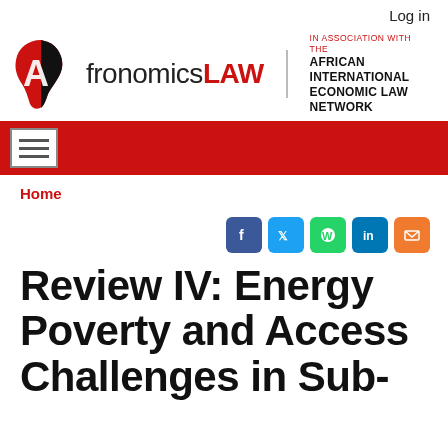Log in
[Figure (logo): AfronomicsLAW logo with Africa map icon and 'IN ASSOCIATION WITH THE AFRICAN INTERNATIONAL ECONOMIC LAW NETWORK' text]
≡ (hamburger menu button)
Home
[Figure (infographic): Social media sharing icons: Facebook, Twitter, WhatsApp, LinkedIn, Email]
Review IV: Energy Poverty and Access Challenges in Sub-